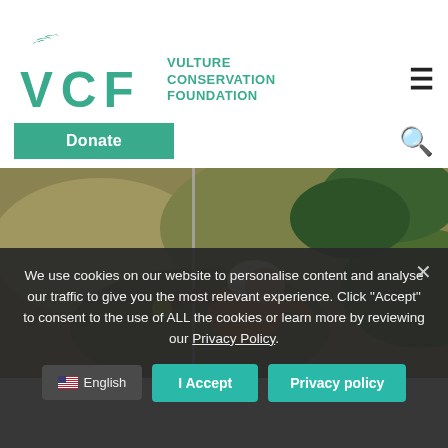[Figure (logo): VCF Vulture Conservation Foundation logo with green vulture silhouettes and green text]
[Figure (photo): Person wearing a white helmet and orange harness climbing or rappelling on a rocky hillside with green vegetation in the background]
We use cookies on our website to personalise content and analyse our traffic to give you the most relevant experience. Click "Accept" to consent to the use of ALL the cookies or learn more by reviewing our Privacy Policy.